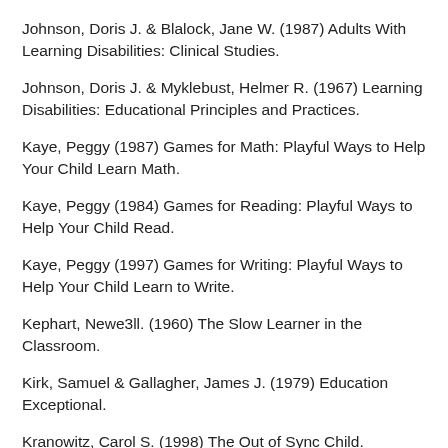Johnson, Doris J. & Blalock, Jane W. (1987) Adults With Learning Disabilities: Clinical Studies.
Johnson, Doris J. & Myklebust, Helmer R. (1967) Learning Disabilities: Educational Principles and Practices.
Kaye, Peggy (1987) Games for Math: Playful Ways to Help Your Child Learn Math.
Kaye, Peggy (1984) Games for Reading: Playful Ways to Help Your Child Read.
Kaye, Peggy (1997) Games for Writing: Playful Ways to Help Your Child Learn to Write.
Kephart, Newe3ll. (1960) The Slow Learner in the Classroom.
Kirk, Samuel & Gallagher, James J. (1979) Education Exceptional.
Kranowitz, Carol S. (1998) The Out of Sync Child.
Kranowitz, Carol S. (2003) The Out of Sync Child Has Fun: Activities for Kids with Sensory Integration Dysfunction.
Kruvitz, Mensheth & Wey, Jay F. (2001) The K8W Guide to College…